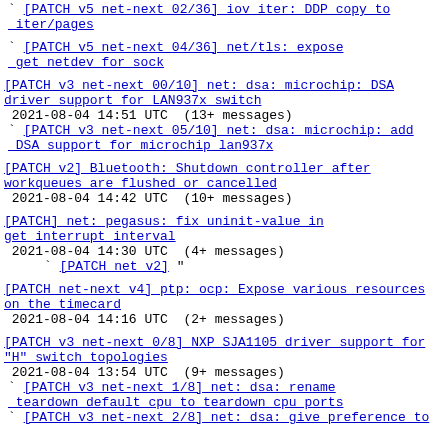` [PATCH v5 net-next 02/36] iov iter: DDP copy to iter/pages
` [PATCH v5 net-next 04/36] net/tls: expose get netdev for sock
[PATCH v3 net-next 00/10] net: dsa: microchip: DSA driver support for LAN937x switch
2021-08-04 14:51 UTC  (13+ messages)
` [PATCH v3 net-next 05/10] net: dsa: microchip: add DSA support for microchip lan937x
[PATCH v2] Bluetooth: Shutdown controller after workqueues are flushed or cancelled
2021-08-04 14:42 UTC  (10+ messages)
[PATCH] net: pegasus: fix uninit-value in get interrupt interval
2021-08-04 14:30 UTC  (4+ messages)
` [PATCH net v2]  "
[PATCH net-next v4] ptp: ocp: Expose various resources on the timecard
2021-08-04 14:16 UTC  (2+ messages)
[PATCH v3 net-next 0/8] NXP SJA1105 driver support for "H" switch topologies
2021-08-04 13:54 UTC  (9+ messages)
` [PATCH v3 net-next 1/8] net: dsa: rename teardown default cpu to teardown cpu ports
` [PATCH v3 net-next 2/8] net: dsa: give preference to